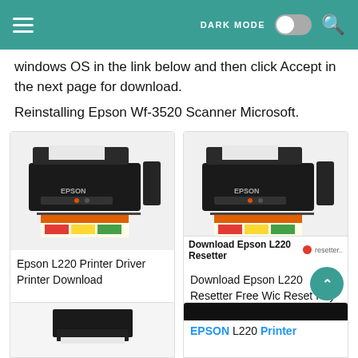DARK MODE [toggle] [search]
windows OS in the link below and then click Accept in the next page for download.
Reinstalling Epson Wf-3520 Scanner Microsoft.
[Figure (photo): Epson L220 inkjet printer with ink tank, printing a colorful document]
Epson L220 Printer Driver Printer Download
[Figure (photo): Epson L220 inkjet printer with ink tank, printing a colorful document, with Download Epson L220 Resetter overlay label]
Download Epson L220 Resetter Free Wic Reset Key Epson Epson Printer Printer
[Figure (photo): Partial view of a printer from below]
[Figure (photo): EPSON L220 Printer banner image]